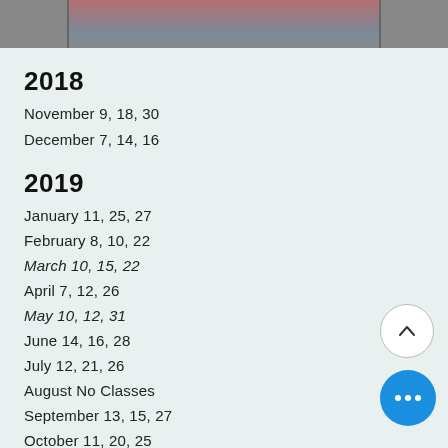[Figure (photo): Partial photo showing a person, cropped at the top of the page]
2018
November 9, 18, 30
December 7, 14, 16
2019
January 11, 25, 27
February 8, 10, 22
March 10, 15, 22
April 7, 12, 26
May 10, 12, 31
June 14, 16, 28
July 12, 21, 26
August No Classes
September 13, 15, 27
October 11, 20, 25
November 8, 17, 22
December 6, 13, 15